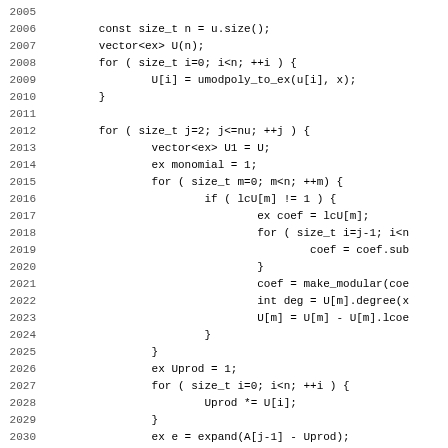[Figure (screenshot): Source code listing showing C++ code, lines 2005-2037, implementing polynomial operations with vectors and loops.]